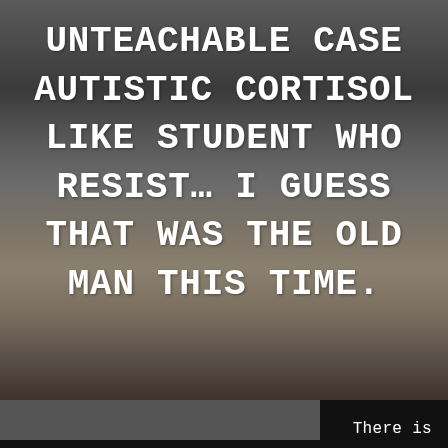[Figure (photo): Dark background photo showing the back of a person's head with long hair, dimly lit.]
UNTEACHABLE CASE AUTISTIC CORTISOL LIKE STUDENT WHO RESIST… I GUESS THAT WAS THE OLD MAN THIS TIME.
There is